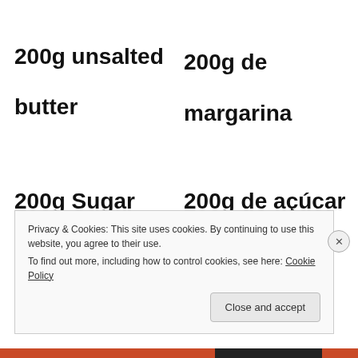200g unsalted butter
200g de margarina
200g Sugar
200g de açúcar
Privacy & Cookies: This site uses cookies. By continuing to use this website, you agree to their use.
To find out more, including how to control cookies, see here: Cookie Policy
Close and accept